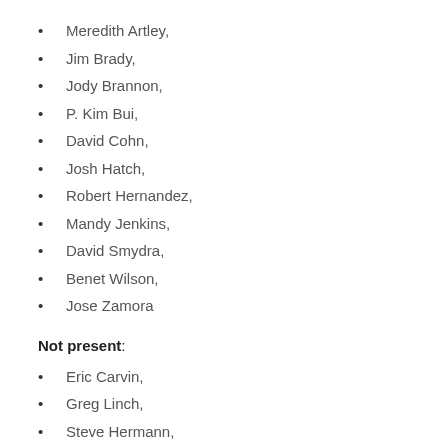Meredith Artley,
Jim Brady,
Jody Brannon,
P. Kim Bui,
David Cohn,
Josh Hatch,
Robert Hernandez,
Mandy Jenkins,
David Smydra,
Benet Wilson,
Jose Zamora
Not present:
Eric Carvin,
Greg Linch,
Steve Hermann,